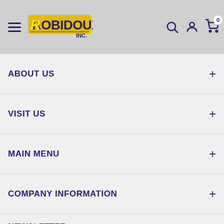Robidoux Inc. - Navigation header with hamburger menu, logo, search, account, and cart icons
ABOUT US
VISIT US
MAIN MENU
COMPANY INFORMATION
NEWSLETTER
Keep updated with new products, sales, and more!
Your email